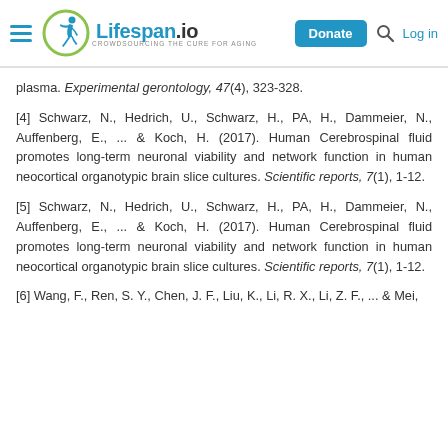Lifespan.io — Donate | Log in
plasma. Experimental gerontology, 47(4), 323-328.
[4] Schwarz, N., Hedrich, U., Schwarz, H., PA, H., Dammeier, N., Auffenberg, E., ... & Koch, H. (2017). Human Cerebrospinal fluid promotes long-term neuronal viability and network function in human neocortical organotypic brain slice cultures. Scientific reports, 7(1), 1-12.
[5] Schwarz, N., Hedrich, U., Schwarz, H., PA, H., Dammeier, N., Auffenberg, E., ... & Koch, H. (2017). Human Cerebrospinal fluid promotes long-term neuronal viability and network function in human neocortical organotypic brain slice cultures. Scientific reports, 7(1), 1-12.
[6] Wang, F., Ren, S. Y., Chen, J. F., Liu, K., Li, R. X., Li, Z. F., ... & Mei,